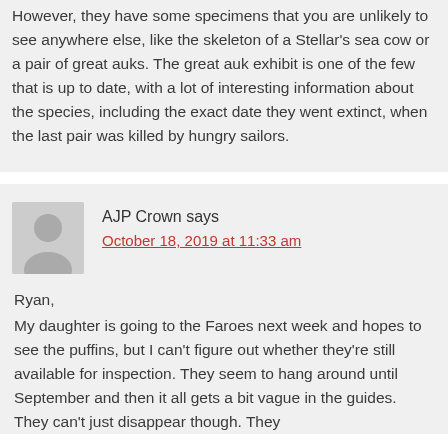However, they have some specimens that you are unlikely to see anywhere else, like the skeleton of a Stellar's sea cow or a pair of great auks. The great auk exhibit is one of the few that is up to date, with a lot of interesting information about the species, including the exact date they went extinct, when the last pair was killed by hungry sailors.
AJP Crown says
October 18, 2019 at 11:33 am
Ryan,
My daughter is going to the Faroes next week and hopes to see the puffins, but I can't figure out whether they're still available for inspection. They seem to hang around until September and then it all gets a bit vague in the guides. They can't just disappear though. They